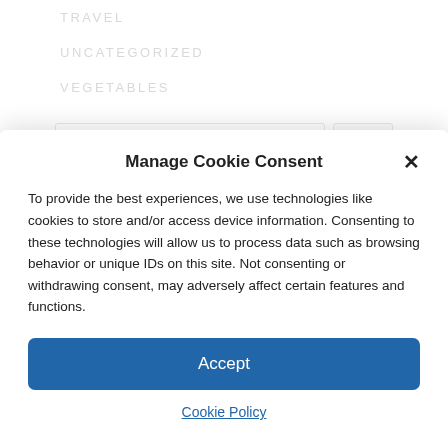TRAVEL
UNCATEGORIZED
VEGETABLES
Manage Cookie Consent
To provide the best experiences, we use technologies like cookies to store and/or access device information. Consenting to these technologies will allow us to process data such as browsing behavior or unique IDs on this site. Not consenting or withdrawing consent, may adversely affect certain features and functions.
Accept
Cookie Policy